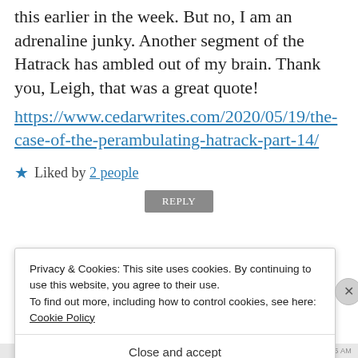this earlier in the week. But no, I am an adrenaline junky. Another segment of the Hatrack has ambled out of my brain. Thank you, Leigh, that was a great quote!
https://www.cedarwrites.com/2020/05/19/the-case-of-the-perambulating-hatrack-part-14/
★ Liked by 2 people
Privacy & Cookies: This site uses cookies. By continuing to use this website, you agree to their use.
To find out more, including how to control cookies, see here: Cookie Policy
Close and accept